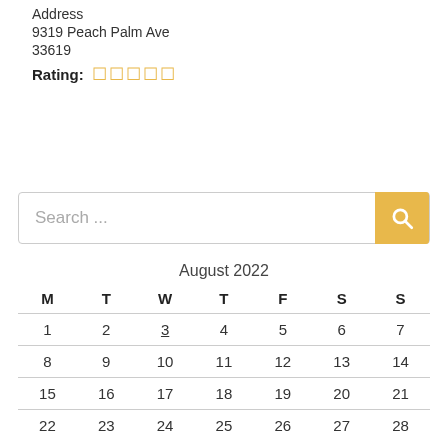Address
9319 Peach Palm Ave
33619
Rating: ☆☆☆☆☆
[Figure (screenshot): Search bar with yellow search button]
| M | T | W | T | F | S | S |
| --- | --- | --- | --- | --- | --- | --- |
| 1 | 2 | 3 | 4 | 5 | 6 | 7 |
| 8 | 9 | 10 | 11 | 12 | 13 | 14 |
| 15 | 16 | 17 | 18 | 19 | 20 | 21 |
| 22 | 23 | 24 | 25 | 26 | 27 | 28 |